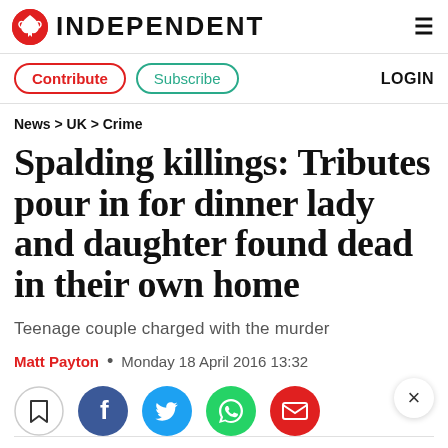INDEPENDENT
Contribute   Subscribe   LOGIN
News > UK > Crime
Spalding killings: Tributes pour in for dinner lady and daughter found dead in their own home
Teenage couple charged with the murder
Matt Payton • Monday 18 April 2016 13:32